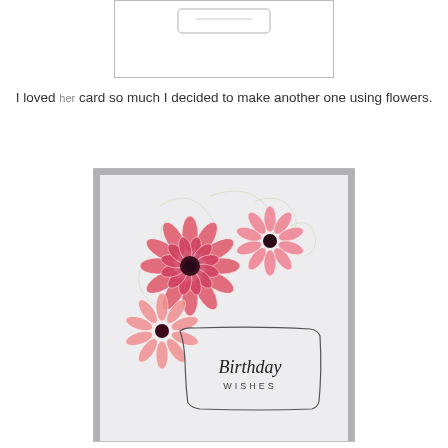[Figure (photo): Top portion of a previous card image, partially cropped, showing a white card with a faint outline icon at top]
I loved her card so much I decided to make another one using flowers.
[Figure (photo): A handmade birthday card with pink/coral dahlia flowers stamped in upper left area, with decorative swirl flourishes, and a rectangular text box at bottom reading 'Birthday WISHES' in script and small caps.]